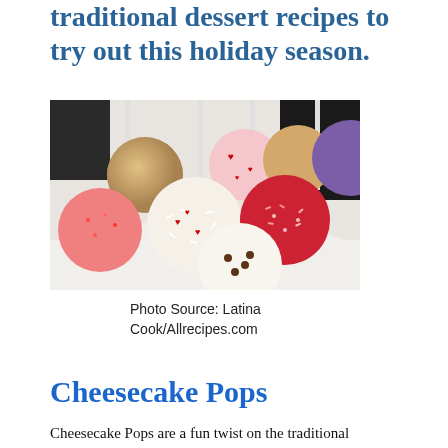traditional dessert recipes to try out this holiday season.
[Figure (photo): Colorful assorted cake pops on sticks decorated with sprinkles, hearts, and various coatings including white chocolate, red, purple, and brown.]
Photo Source: Latina Cook/Allrecipes.com
Cheesecake Pops
Cheesecake Pops are a fun twist on the traditional